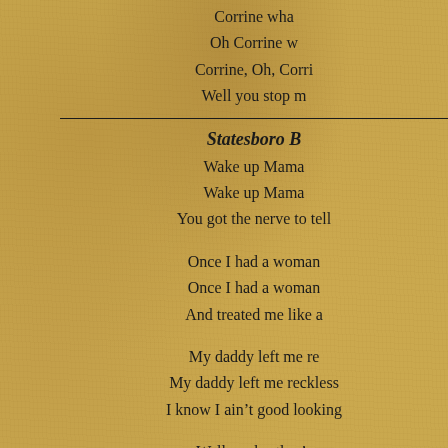Corrine wha
Oh Corrine w
Corrine, Oh, Corri
Well you stop m
Statesboro B
Wake up Mama
Wake up Mama
You got the nerve to tell
Once I had a woman
Once I had a woman
And treated me like a
My daddy left me re
My daddy left me reckless
I know I ain't good looking
Well my brother's
My uncle's got '